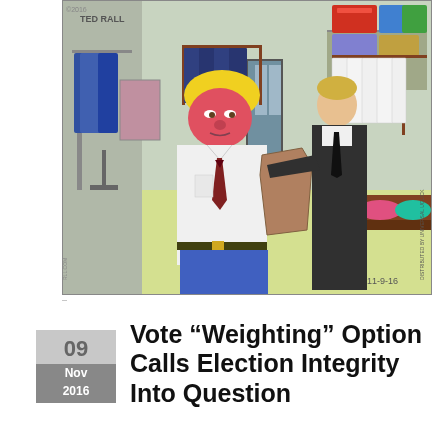[Figure (illustration): Editorial cartoon by Ted Rall (©2016 Rall.com, distributed by Universal Uclick) dated 11-9-16. Shows a caricature of a figure with blonde hair and a pink simian face wearing a white shirt and tie being fitted into a brown jacket by a tailor in a suit, inside what appears to be a clothing store with suits on racks and shoe displays.]
Vote “Weighting” Option Calls Election Integrity Into Question